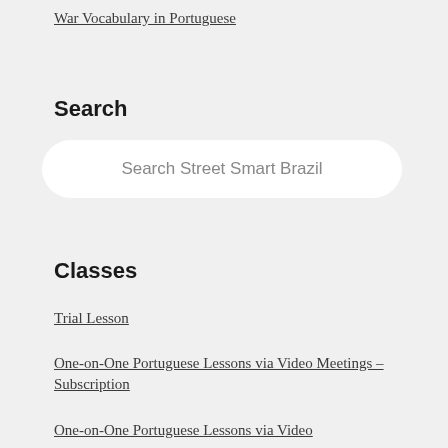War Vocabulary in Portuguese
Search
Search Street Smart Brazil
Classes
Trial Lesson
One-on-One Portuguese Lessons via Video Meetings – Subscription
One-on-One Portuguese Lessons via Video